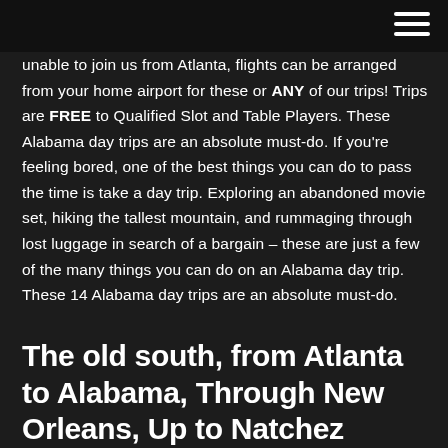unable to join us from Atlanta, flights can be arranged from your home airport for these or ANY of our trips! Trips are FREE to Qualified Slot and Table Players. These Alabama day trips are an absolute must-do. If you're feeling bored, one of the best things you can do to pass the time is take a day trip. Exploring an abandoned movie set, hiking the tallest mountain, and rummaging through lost luggage in search of a bargain – these are just a few of the many things you can do on an Alabama day trip. These 14 Alabama day trips are an absolute must-do.
The old south, from Atlanta to Alabama, Through New Orleans, Up to Natchez Mississippi, Then